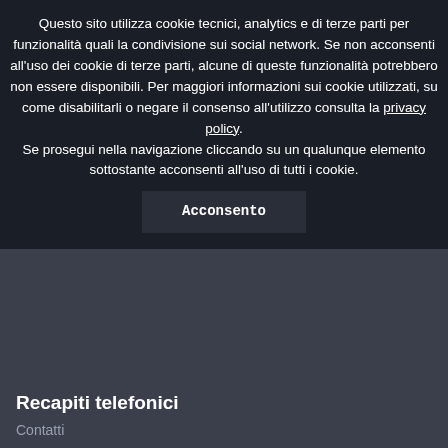Questo sito utilizza cookie tecnici, analytics e di terze parti per funzionalità quali la condivisione sui social network. Se non acconsenti all'uso dei cookie di terze parti, alcune di queste funzionalità potrebbero non essere disponibili. Per maggiori informazioni sui cookie utilizzati, su come disabilitarli o negare il consenso all'utilizzo consulta la privacy policy. Se prosegui nella navigazione cliccando su un qualunque elemento sottostante acconsenti all'uso di tutti i cookie.
Acconsento
Recapiti telefonici
Contatti
Indirizzo PEC
dipe.cipe@pec.governo.it
Indirizzo posta elettronica
dipe.segreteriacd@governo.it
Sistema CUP MIP